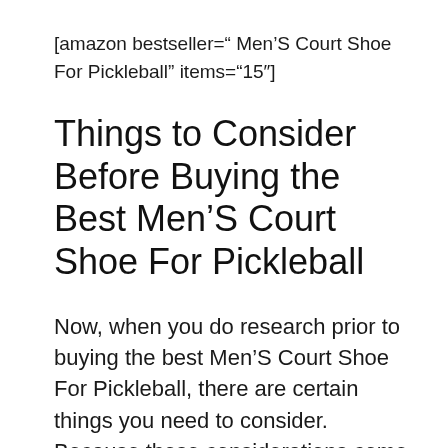[amazon bestseller=" Men'S Court Shoe For Pickleball" items="15"]
Things to Consider Before Buying the Best Men'S Court Shoe For Pickleball
Now, when you do research prior to buying the best Men'S Court Shoe For Pickleball, there are certain things you need to consider. Because these considerations come into play by ensuring that you do not end up with the wrong choice.